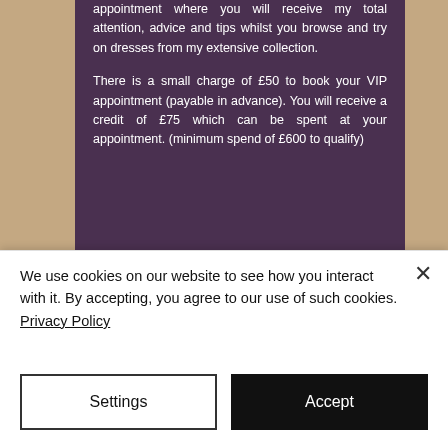appointment where you will receive my total attention, advice and tips whilst you browse and try on dresses from my extensive collection.

There is a small charge of £50 to book your VIP appointment (payable in advance). You will receive a credit of £75 which can be spent at your appointment. (minimum spend of £600 to qualify)
We use cookies on our website to see how you interact with it. By accepting, you agree to our use of such cookies. Privacy Policy